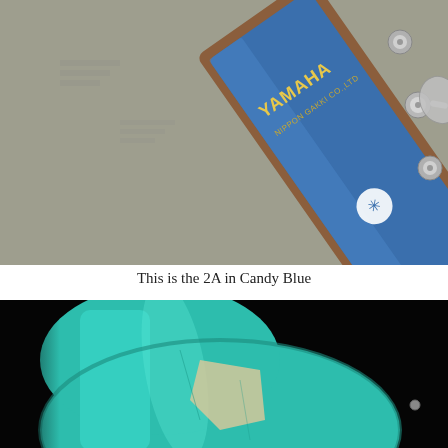[Figure (photo): Close-up photo of a Yamaha bass guitar headstock in Candy Blue color, lying on a concrete surface. The blue headstock shows the YAMAHA and Nippon Gakki Co. Ltd logos in gold text, with tuning pegs and the Yamaha logo emblem visible.]
This is the 2A in Candy Blue
[Figure (photo): Photo of a turquoise/teal electric guitar body against a black background, showing the body contour and pickguard area.]